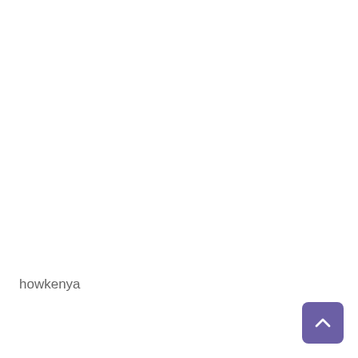howkenya
[Figure (other): A purple rounded square button with a white upward-pointing chevron arrow, used as a scroll-to-top button]